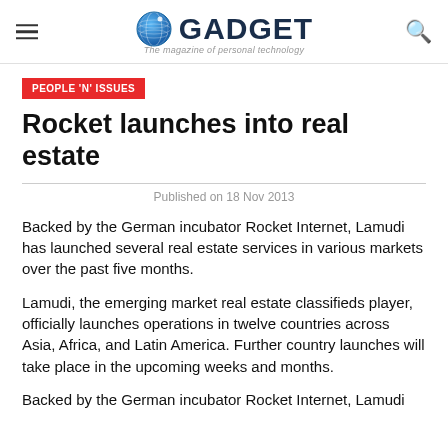GADGET — The magazine of personal technology
PEOPLE 'N' ISSUES
Rocket launches into real estate
Published on 18 Nov 2013
Backed by the German incubator Rocket Internet, Lamudi has launched several real estate services in various markets over the past five months.
Lamudi, the emerging market real estate classifieds player, officially launches operations in twelve countries across Asia, Africa, and Latin America. Further country launches will take place in the upcoming weeks and months.
Backed by the German incubator Rocket Internet, Lamudi